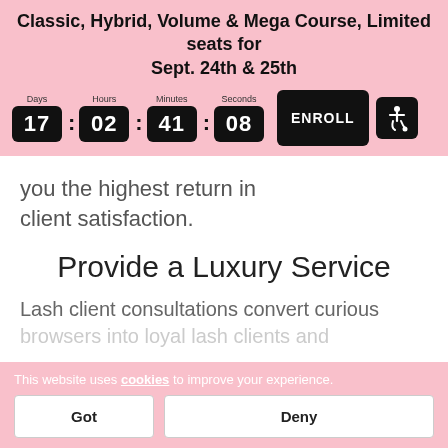Classic, Hybrid, Volume & Mega Course, Limited seats for Sept. 24th & 25th
[Figure (infographic): Countdown timer showing 17 days, 02 hours, 41 minutes, 08 seconds with an ENROLL button and accessibility icon]
you the highest return in client satisfaction.
Provide a Luxury Service
Lash client consultations convert curious
This website uses cookies to improve your experience.
Got
Deny